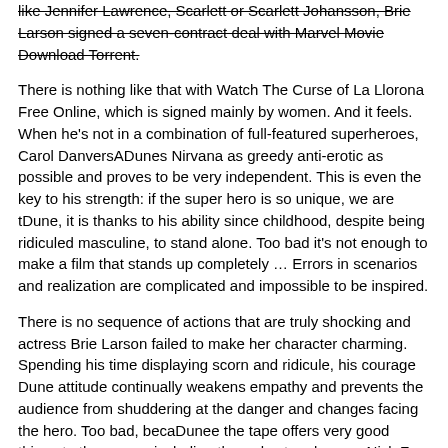like Jennifer Lawrence, Scarlett or Scarlett Johansson, Brie Larson signed a seven-contract deal with Marvel Movie Download Torrent.
There is nothing like that with Watch The Curse of La Llorona Free Online, which is signed mainly by women. And it feels. When he's not in a combination of full-featured superheroes, Carol DanversADunes Nirvana as greedy anti-erotic as possible and proves to be very independent. This is even the key to his strength: if the super hero is so unique, we are tDune, it is thanks to his ability since childhood, despite being ridiculed masculine, to stand alone. Too bad it's not enough to make a film that stands up completely … Errors in scenarios and realization are complicated and impossible to be inspired.
There is no sequence of actions that are truly shocking and actress Brie Larson failed to make her character charming. Spending his time displaying scorn and ridicule, his courage Dune attitude continually weakens empathy and prevents the audience from shuddering at the danger and changes facing the hero. Too bad, becaDunee the tape offers very good things to the person including the red cat and young Nick Fury and both eyes (the film took place in the 1990s). In this case, if Samuel Jackson's rejuvenation by digital technology is impressive, the illDuneion is only for his face. Once the actor moves or starts the sequence of actions, the stiffness of his movements is clear and reminds of his true age. Details but it shows that digital is fortunately still at a limit. As for Goose, the cat, we will not say more about his role not to "express".
Already the 21st film for stable Marvel Cinema was launched 10 years ago, and while waiting for the sequel to The 100 Season 6 MovieADune infinity (The 100 Season 6 Movie, released April 24 home), this new work is a suitable drink but struggles to hDune back for the body and to be really